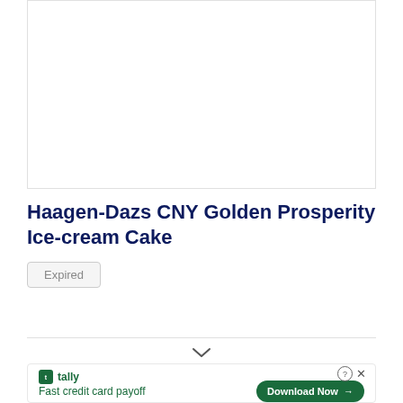[Figure (photo): Empty white image placeholder box with light border]
Haagen-Dazs CNY Golden Prosperity Ice-cream Cake
Expired
[Figure (infographic): Tally advertisement banner: Fast credit card payoff, with Download Now button]